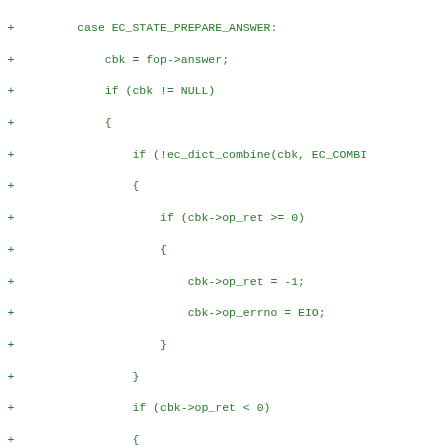[Figure (other): Code diff snippet in green monospace font showing C code for a state machine with cases EC_STATE_PREPARE_ANSWER and EC_STATE_REPORT, with + signs in the left margin indicating added lines.]